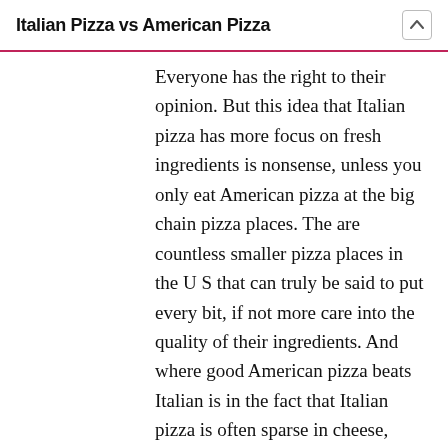Italian Pizza vs American Pizza
Everyone has the right to their opinion. But this idea that Italian pizza has more focus on fresh ingredients is nonsense, unless you only eat American pizza at the big chain pizza places. The are countless smaller pizza places in the U S that can truly be said to put every bit, if not more care into the quality of their ingredients. And where good American pizza beats Italian is in the fact that Italian pizza is often sparse in cheese, more bland and sparse in tomato sauce and less creative. So just like some people only like vanilla ice cream, there are some who would prefer the more plain Italian style pizza. But for those of us who love variety, creativity,